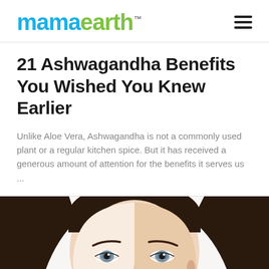mamaearth™
21 Ashwagandha Benefits You Wished You Knew Earlier
Unlike Aloe Vera, Ashwagandha is not a commonly used plant or a regular kitchen spice. But it has received a generous amount of attention for the benefits it serves us ...
[Figure (photo): Close-up photo of a young woman's face with dark hair pulled back, blue-grey eyes, clear glowing skin, and natural makeup, centered in frame against a white background]